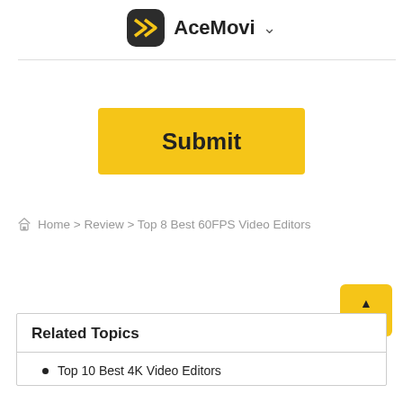AceMovi
[Figure (other): Yellow Submit button]
Home > Review > Top 8 Best 60FPS Video Editors
[Figure (other): Yellow TOP button with upward arrow]
Related Topics
Top 10 Best 4K Video Editors